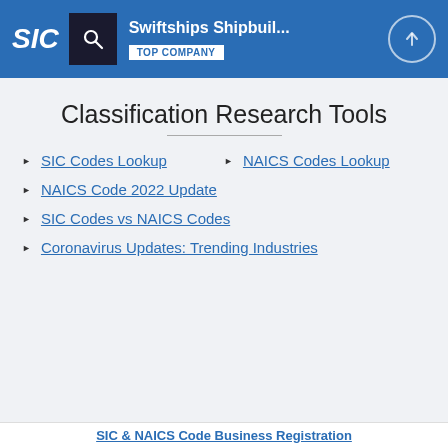SIC | Swiftships Shipbuil... | TOP COMPANY
Classification Research Tools
SIC Codes Lookup
NAICS Codes Lookup
NAICS Code 2022 Update
SIC Codes vs NAICS Codes
Coronavirus Updates: Trending Industries
SIC & NAICS Code Business Registration